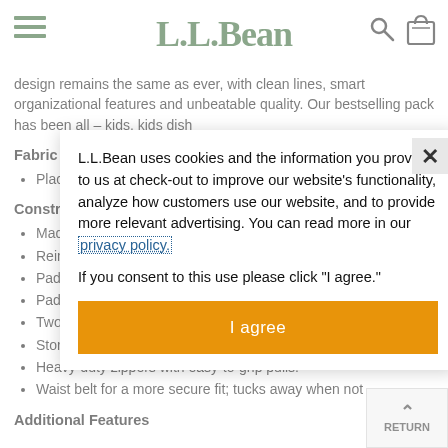L.L.Bean
design remains the same as ever, with clean lines, smart organizational features and unbeatable quality. Our bestselling pack has been all – kids. kids dish
Fabric &
Place line dr
Construc
Made
Reinfc
Padde
Padde
Two deep water bottle pockets.
Storm flaps keep weather out but won't snag on zippers.
Heavy-duty zippers with easy-to-grip pulls.
Waist belt for a more secure fit; tucks away when not
Additional Features
[Figure (screenshot): Cookie consent modal overlay on L.L.Bean website. Modal text: 'L.L.Bean uses cookies and the information you provide to us at check-out to improve our website's functionality, analyze how customers use our website, and to provide more relevant advertising. You can read more in our privacy policy. If you consent to this use please click "I agree."' With an orange 'I agree' button and an X close button.]